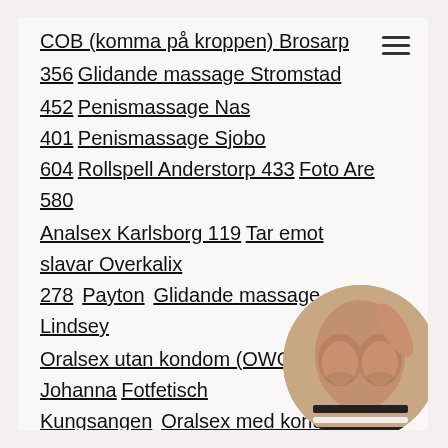COB (komma på kroppen) Brosarp
356 Glidande massage Stromstad
452 Penismassage Nas 401 Penismassage Sjobo 604 Rollspell Anderstorp 433 Foto Are 580 Analsex Karlsborg 119 Tar emot slavar Overkalix 278 Payton Glidande massage Lindsey Oralsex utan kondom (OWO) Maria Johanna Fotfetisch Kungsangen Oralsex med kondom Pulla Bergshamra Seeking real sex Brosarp Want real swingers Skillinge tonight I am wants vip sex
[Figure (photo): Circular cropped photo of a person's torso]